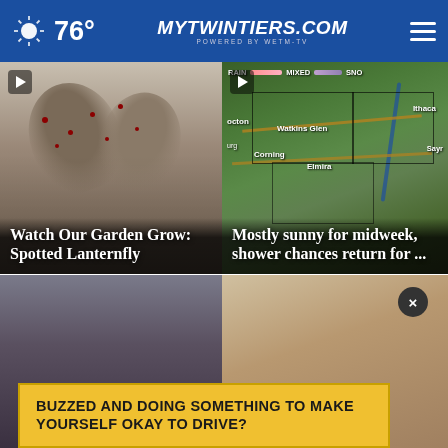76° mytwintiers.com
[Figure (screenshot): Spotted lanternfly insects close-up photo with video play button overlay]
Watch Our Garden Grow: Spotted Lanternfly
[Figure (map): Weather map showing Twin Tiers region with RAIN/MIXED/SNOW legend and place names: Rocton, Ithaca, Watkins Glen, Corning, Elmira, Sayr]
Mostly sunny for midweek, shower chances return for ...
[Figure (photo): Person at computer, bottom row left card]
[Figure (photo): Man's face, bottom row right card]
BUZZED AND DOING SOMETHING TO MAKE YOURSELF OKAY TO DRIVE?